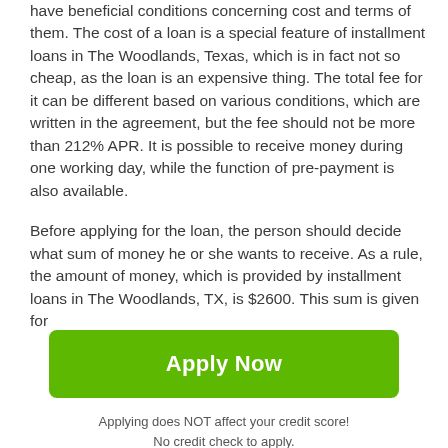have beneficial conditions concerning cost and terms of them. The cost of a loan is a special feature of installment loans in The Woodlands, Texas, which is in fact not so cheap, as the loan is an expensive thing. The total fee for it can be different based on various conditions, which are written in the agreement, but the fee should not be more than 212% APR. It is possible to receive money during one working day, while the function of pre-payment is also available.
Before applying for the loan, the person should decide what sum of money he or she wants to receive. As a rule, the amount of money, which is provided by installment loans in The Woodlands, TX, is $2600. This sum is given for
[Figure (other): Green 'Apply Now' button — a call-to-action button with rounded corners and bright green background]
Applying does NOT affect your credit score!
No credit check to apply.